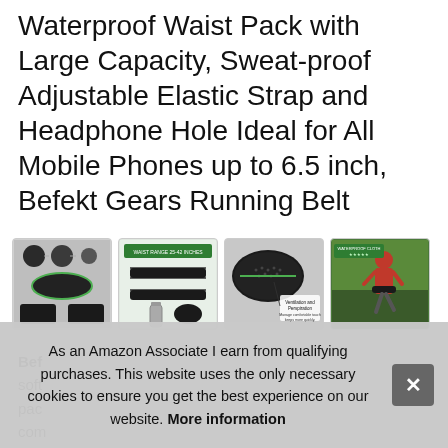Waterproof Waist Pack with Large Capacity, Sweat-proof Adjustable Elastic Strap and Headphone Hole Ideal for All Mobile Phones up to 6.5 inch, Befekt Gears Running Belt
[Figure (photo): Four product thumbnail images of a running waist belt / fanny pack: (1) product components layout, (2) waist range sizing chart 25-42 inches, (3) close-up of fabric ventilation and perspiration features, (4) man in red shirt running outdoors with waterproof cloth label]
Befo... soft... pac... com... reach all must-have stuff.
As an Amazon Associate I earn from qualifying purchases. This website uses the only necessary cookies to ensure you get the best experience on our website. More information